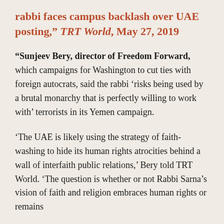rabbi faces campus backlash over UAE posting," TRT World, May 27, 2019
“Sunjeev Bery, director of Freedom Forward, which campaigns for Washington to cut ties with foreign autocrats, said the rabbi ‘risks being used by a brutal monarchy that is perfectly willing to work with’ terrorists in its Yemen campaign.
‘The UAE is likely using the strategy of faith-washing to hide its human rights atrocities behind a wall of interfaith public relations,’ Bery told TRT World. ‘The question is whether or not Rabbi Sarna’s vision of faith and religion embraces human rights or remains